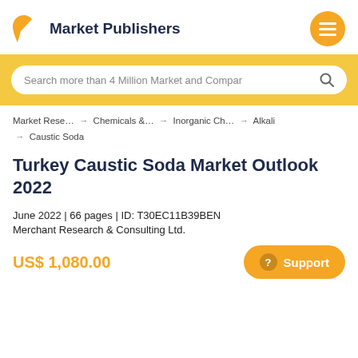Market Publishers
Search more than 4 Million Market and Compar
Market Rese… → Chemicals &… → Inorganic Ch… → Alkali → Caustic Soda
Turkey Caustic Soda Market Outlook 2022
June 2022 | 66 pages | ID: T30EC11B39BEN
Merchant Research & Consulting Ltd.
US$ 1,080.00